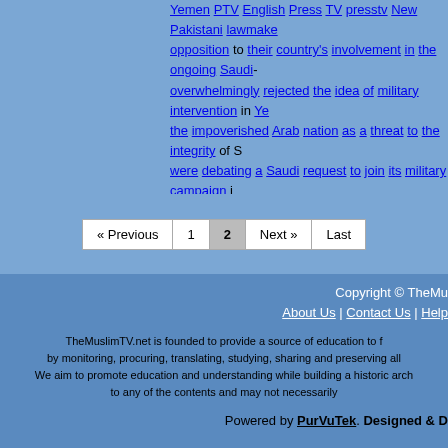Yemen PTV English Press TV presstv New Pakistani lawmakers opposition to their country's involvement in the ongoing Saudi- overwhelmingly rejected the idea of military intervention in Ye- the impoverished Arab nation as a threat to the integrity of S- were debating a Saudi request to join its military campaign i- ships
« Previous  1  2  Next »  Last
Copyright © TheMu
About Us  |  Contact Us  |  Help
TheMuslimTV.net is founded to provide a source of education to f- by monitoring, procuring, translating, studying, sharing and preserving all We aim to promote education and understanding while building a historic arch- to any of the contents and may not necessarily
Powered by PurVuTek. Designed & D